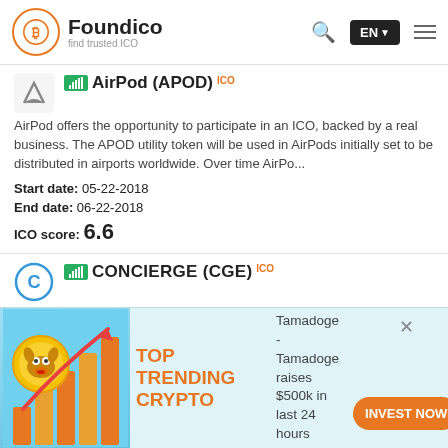Foundico — find trusted ICO | EN | Search | Menu
[Figure (logo): Foundico logo with orange Bitcoin circle icon and text 'Foundico find trusted ICO']
AirPod (APOD) ICO
AirPod offers the opportunity to participate in an ICO, backed by a real business. The APOD utility token will be used in AirPods initially set to be distributed in airports worldwide. Over time AirPo...
Start date: 05-22-2018
End date: 06-22-2018
ICO score: 6.6
CONCIERGE (CGE) ICO
Concierge is a Travel Booking Marketplace with 0% commission fees using the NEO Blockchain. Vendors and consumers can connect directly. We will accept fiat and crypto as payment for bookings. CGE is t...
[Figure (infographic): Advertisement banner: TOP TRENDING CRYPTO — Tamadoge raises $500k in last 24 hours — INVEST NOW button]